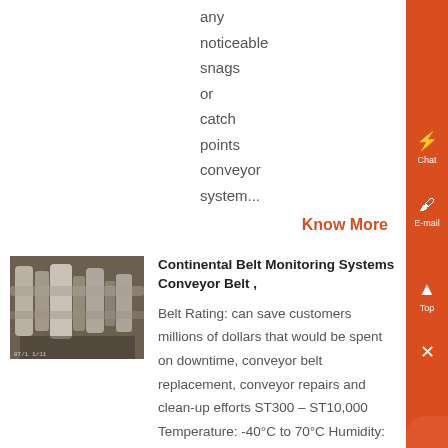any noticeable snags or catch points conveyor system...
Know More
[Figure (photo): Industrial conveyor belt system machinery photo]
Continental Belt Monitoring Systems Conveyor Belt ,
Belt Rating: can save customers millions of dollars that would be spent on downtime, conveyor belt replacement, conveyor repairs and clean-up efforts ST300 – ST10,000 Temperature: -40°C to 70°C Humidity: 20% to 90% RH Non-Condensing System Output: allowing for continued utilization of the undamaged